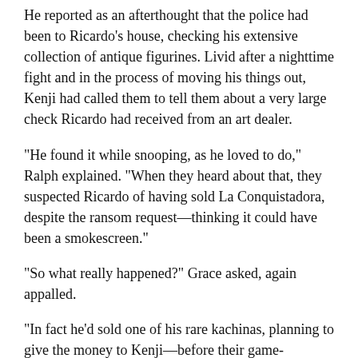He reported as an afterthought that the police had been to Ricardo's house, checking his extensive collection of antique figurines. Livid after a nighttime fight and in the process of moving his things out, Kenji had called them to tell them about a very large check Ricardo had received from an art dealer.
"He found it while snooping, as he loved to do," Ralph explained. "When they heard about that, they suspected Ricardo of having sold La Conquistadora, despite the ransom request—thinking it could have been a smokescreen."
"So what really happened?" Grace asked, again appalled.
"In fact he'd sold one of his rare kachinas, planning to give the money to Kenji—before their game-changing fight."
Lovers' quarrels, lovers' mistakes, missteps. She knew them all too well.
"I ought to make a run for it while I still can," she told